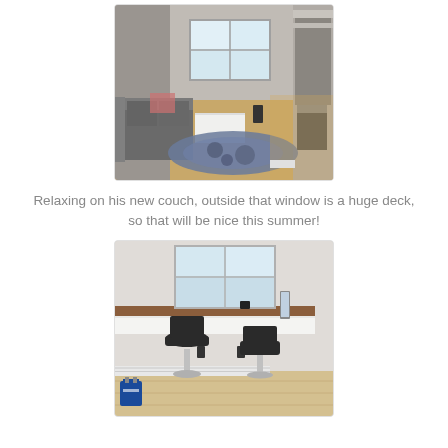[Figure (photo): Interior photo of a living room with a grey couch, white coffee table, blue patterned rug on hardwood floor, large window with natural light, and a fireplace on the right side.]
Relaxing on his new couch, outside that window is a huge deck, so that will be nice this summer!
[Figure (photo): Interior photo of a built-in white desk/bar counter along a wall with two black bar stools with chrome bases, a window above the counter, and light wood flooring.]